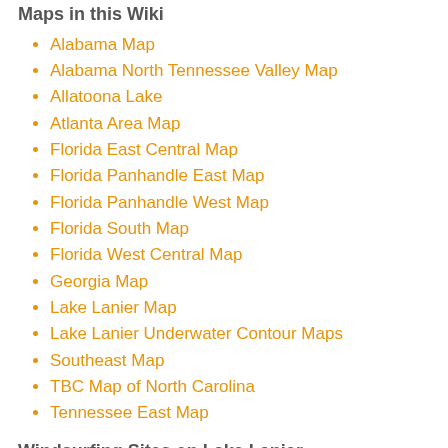Maps in this Wiki
Alabama Map
Alabama North Tennessee Valley Map
Allatoona Lake
Atlanta Area Map
Florida East Central Map
Florida Panhandle East Map
Florida Panhandle West Map
Florida South Map
Florida West Central Map
Georgia Map
Lake Lanier Map
Lake Lanier Underwater Contour Maps
Southeast Map
TBC Map of North Carolina
Tennessee East Map
Windsurfing Sites on Lake Lanier